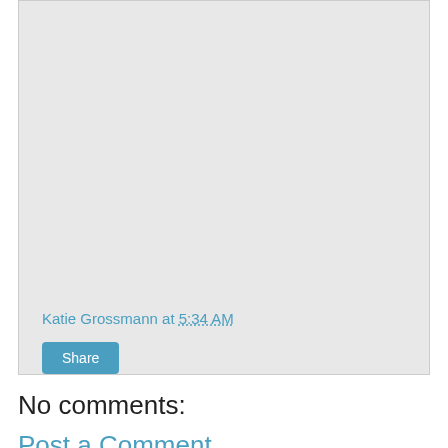[Figure (other): Light gray card/panel area, mostly empty background]
Katie Grossmann at 5:34 AM
Share
No comments:
Post a Comment